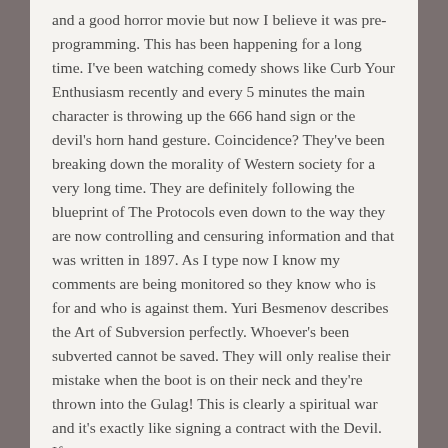and a good horror movie but now I believe it was pre-programming. This has been happening for a long time. I've been watching comedy shows like Curb Your Enthusiasm recently and every 5 minutes the main character is throwing up the 666 hand sign or the devil's horn hand gesture. Coincidence? They've been breaking down the morality of Western society for a very long time. They are definitely following the blueprint of The Protocols even down to the way they are now controlling and censuring information and that was written in 1897. As I type now I know my comments are being monitored so they know who is for and who is against them. Yuri Besmenov describes the Art of Subversion perfectly. Whoever's been subverted cannot be saved. They will only realise their mistake when the boot is on their neck and they're thrown into the Gulag! This is clearly a spiritual war and it's exactly like signing a contract with the Devil. If you